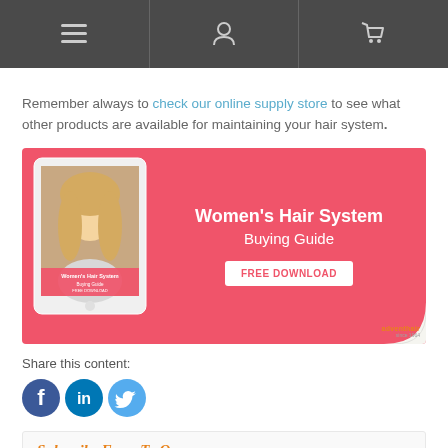[Navigation bar with menu, person, and cart icons]
Remember always to check our online supply store to see what other products are available for maintaining your hair system.
[Figure (infographic): Pink promotional banner for Women's Hair System Buying Guide showing a tablet with a woman's photo. Text reads 'Women's Hair System Buying Guide' with a FREE DOWNLOAD button. AdventHair logo in bottom right corner with page curl effect.]
Share this content:
[Figure (illustration): Social media icons: Facebook, LinkedIn, Twitter]
Subscribe To Our